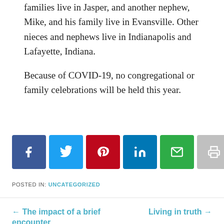families live in Jasper, and another nephew, Mike, and his family live in Evansville. Other nieces and nephews live in Indianapolis and Lafayette, Indiana.
Because of COVID-19, no congregational or family celebrations will be held this year.
[Figure (infographic): Row of six social sharing buttons: Facebook (dark blue, f icon), Twitter (light blue, bird icon), Pinterest (red, P icon), LinkedIn (blue, in icon), Email (green, envelope icon), Print (grey, printer icon)]
POSTED IN: UNCATEGORIZED
← The impact of a brief encounter
Living in truth →